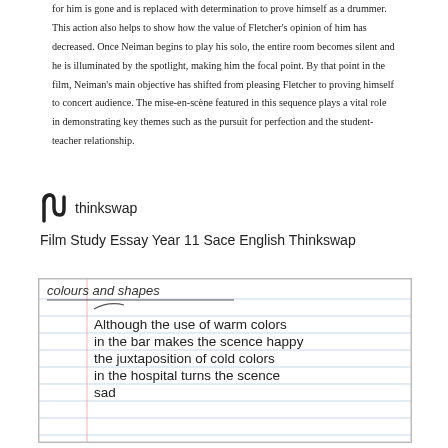for him is gone and is replaced with determination to prove himself as a drummer. This action also helps to show how the value of Fletcher's opinion of him has decreased. Once Neiman begins to play his solo, the entire room becomes silent and he is illuminated by the spotlight, making him the focal point. By that point in the film, Neiman's main objective has shifted from pleasing Fletcher to proving himself to concert audience. The mise-en-scène featured in this sequence plays a vital role in demonstrating key themes such as the pursuit for perfection and the student-teacher relationship.
[Figure (logo): Thinkswap logo — stylized black 'N' shape icon followed by the word 'thinkswap']
Film Study Essay Year 11 Sace English Thinkswap
[Figure (photo): Handwritten student notes on lined paper. Header text reads 'colours and shapes'. Body text reads: 'Although the use of warm colors in the bar makes the scence happy the juxtaposition of cold colors in the hospital turns the scence sad']